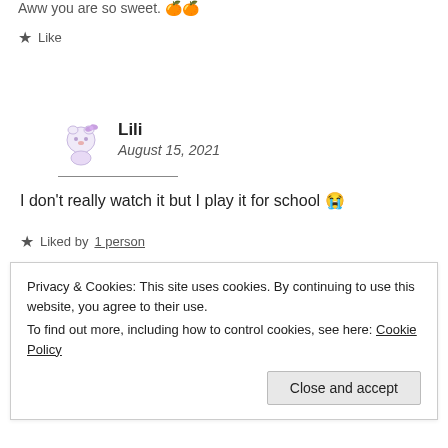Aww you are so sweet. 🍊🍊
★ Like
Lili
August 15, 2021
I don't really watch it but I play it for school 😭
★ Liked by 1 person
Privacy & Cookies: This site uses cookies. By continuing to use this website, you agree to their use. To find out more, including how to control cookies, see here: Cookie Policy
Close and accept